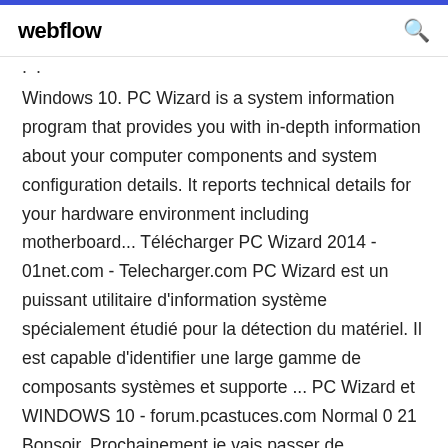webflow
.. .
Windows 10. PC Wizard is a system information program that provides you with in-depth information about your computer components and system configuration details. It reports technical details for your hardware environment including motherboard... Télécharger PC Wizard 2014 - 01net.com - Telecharger.com PC Wizard est un puissant utilitaire d'information système spécialement étudié pour la détection du matériel. Il est capable d'identifier une large gamme de composants systèmes et supporte ... PC Wizard et WINDOWS 10 - forum.pcastuces.com Normal 0 21 Bonsoir. Prochainement je vais passer de